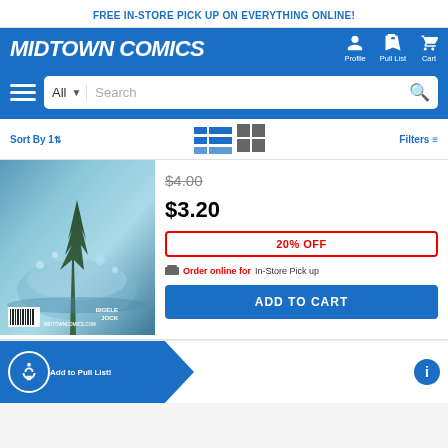FREE IN-STORE PICK UP ON EVERYTHING ONLINE!
[Figure (logo): Midtown Comics logo with navigation icons for Profile, Pull List, Cart]
[Figure (screenshot): Search bar with hamburger menu, All category dropdown, search input, and search icon]
Sort By | Filters
[Figure (photo): Comic book cover with blue/green watery abstract background, BIGELE and JOCK credits, MIDTOWNCOMICS.COM watermark, barcode]
$4.00 (strikethrough original price)
$3.20 (sale price)
20% OFF
Order online for In-Store Pick up
ADD TO CART
Add to Pull List!
Faker #1
By DC/Vertigo Release Date 07/05/2007*